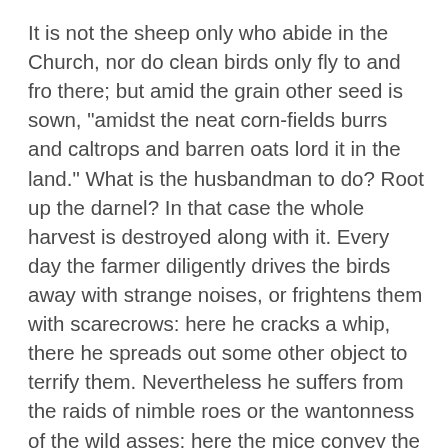It is not the sheep only who abide in the Church, nor do clean birds only fly to and fro there; but amid the grain other seed is sown, "amidst the neat corn-fields burrs and caltrops and barren oats lord it in the land." What is the husbandman to do? Root up the darnel? In that case the whole harvest is destroyed along with it. Every day the farmer diligently drives the birds away with strange noises, or frightens them with scarecrows: here he cracks a whip, there he spreads out some other object to terrify them. Nevertheless he suffers from the raids of nimble roes or the wantonness of the wild asses; here the mice convey the corn to their garners underground, there the ants crowd thickly in and ravage the corn-field. Thus the case stands. No one who has land is free from care. While the householder slept the enemy sowed tares among the wheat, and when the servants proposed to go and root them up the master forbade them, reserving for himself the separation of the chaff...